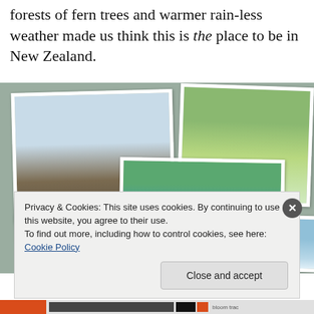forests of fern trees and warmer rain-less weather made us think this is the place to be in New Zealand.
[Figure (photo): Collage of five travel photos from New Zealand: two people standing on rocks overlooking a beach/bay landscape; a tree-lined path with lush green trees; a scenic bay with turquoise water and sandy beach viewed from a hillside; close-up of tangled tree roots or branches; a small sky/blue photo.]
Privacy & Cookies: This site uses cookies. By continuing to use this website, you agree to their use.
To find out more, including how to control cookies, see here: Cookie Policy
Close and accept